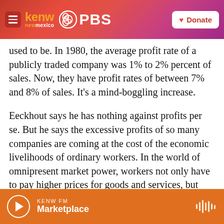kenw newmexico PBS | Donate
used to be. In 1980, the average profit rate of a publicly traded company was 1% to 2% percent of sales. Now, they have profit rates of between 7% and 8% of sales. It's a mind-boggling increase.
Eeckhout says he has nothing against profits per se. But he says the excessive profits of so many companies are coming at the cost of the economic livelihoods of ordinary workers. In the world of omnipresent market power, workers not only have to pay higher prices for goods and services, but they also, Eeckhout says, find it harder to get good-paying work. That's because higher prices of stuff
KENW FM | Marketplace